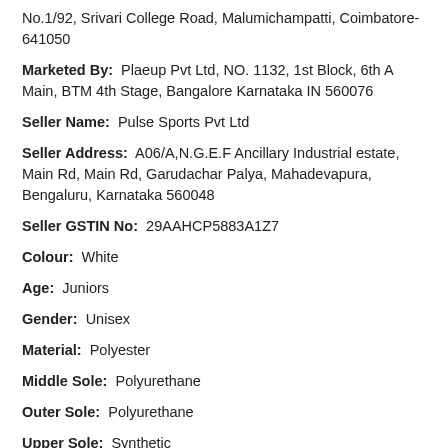No.1/92, Srivari College Road, Malumichampatti, Coimbatore-641050
Marketed By: Plaeup Pvt Ltd, NO. 1132, 1st Block, 6th A Main, BTM 4th Stage, Bangalore Karnataka IN 560076
Seller Name: Pulse Sports Pvt Ltd
Seller Address: A06/A,N.G.E.F Ancillary Industrial estate, Main Rd, Main Rd, Garudachar Palya, Mahadevapura, Bengaluru, Karnataka 560048
Seller GSTIN No: 29AAHCP5883A1Z7
Colour: White
Age: Juniors
Gender: Unisex
Material: Polyester
Middle Sole: Polyurethane
Outer Sole: Polyurethane
Upper Sole: Synthetic
Care Instructions: Shoe Care Guide: 1. Dirt on the shoes can be removed with the use of a simple wet cloth. 2. Our shoes can also be washed in a machine. i. If you want to machine wash the shoes, please remove